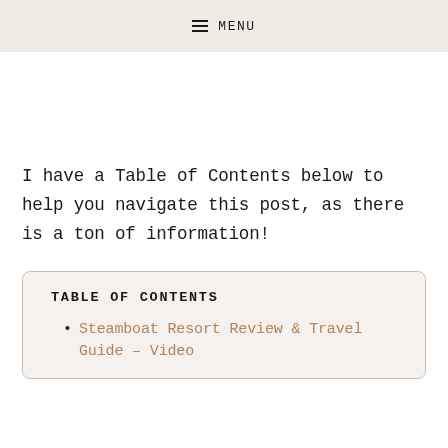≡ MENU
I have a Table of Contents below to help you navigate this post, as there is a ton of information!
TABLE OF CONTENTS
Steamboat Resort Review & Travel Guide – Video